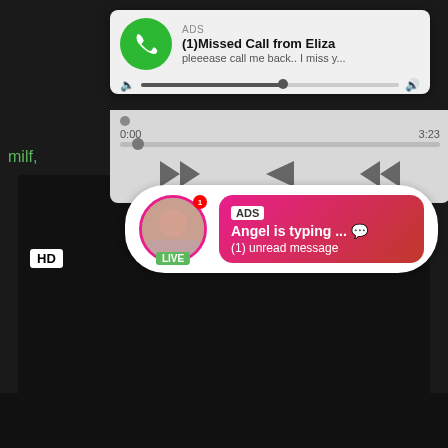[Figure (screenshot): Ad notification card showing a missed call from Eliza with green phone icon, audio player with progress bar and playback controls showing 0:00 / 3:23]
milf, cce...
[Figure (screenshot): Video thumbnail with chat popup showing avatar with LIVE badge, ADS label, 'Angel is typing ... ' message and '(1) unread message', HD badge and 8 min duration]
Sexy Thick Redhead Milf Redhead Mom
milf, redhead, mom, big ass, family, ginger, milfs, big tits, ...